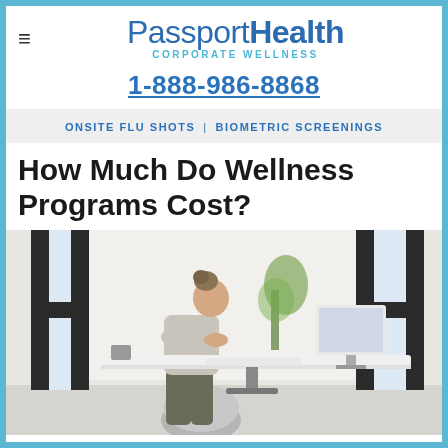PassportHealth CORPORATE WELLNESS
1-888-986-8868
ONSITE FLU SHOTS | BIOMETRIC SCREENINGS
How Much Do Wellness Programs Cost?
[Figure (photo): Woman sitting on an exercise ball at a standing desk in a bright modern office, working on a laptop computer.]